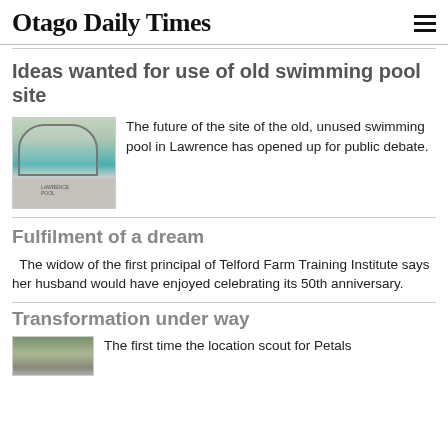Otago Daily Times
Ideas wanted for use of old swimming pool site
[Figure (photo): Photo of old swimming pool building in Lawrence, showing an arched roof structure with teal/turquoise accents and the Lawrence Pool sign visible]
The future of the site of the old, unused swimming pool in Lawrence has opened up for public debate.
Fulfilment of a dream
The widow of the first principal of Telford Farm Training Institute says her husband would have enjoyed celebrating its 50th anniversary.
Transformation under way
[Figure (photo): Partial photo visible at bottom of page]
The first time the location scout for Petals...